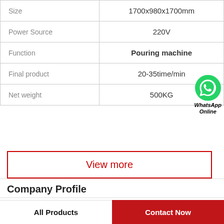|  |  |
| --- | --- |
| Size | 1700x980x1700mm |
| Power Source | 220V |
| Function | Pouring machine |
| Final product | 20-35time/min |
| Net weight | 500KG |
[Figure (logo): WhatsApp green circle icon with phone handset, text: WhatsApp Online]
View more
Company Profile
Gummy Bear Maker Reviews Manufacture
All Products   Contact Now